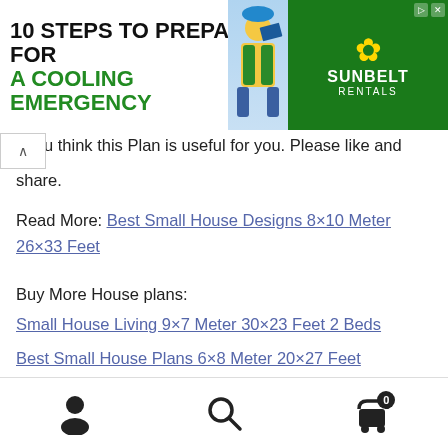[Figure (infographic): Advertisement banner: '10 STEPS TO PREPARE FOR A COOLING EMERGENCY' with Sunbelt Rentals logo and worker photo]
…think this Plan is useful for you. Please like and share.
Read More: Best Small House Designs 8×10 Meter 26×33 Feet
Buy More House plans:
Small House Living 9×7 Meter 30×23 Feet 2 Beds
Best Small House Plans 6×8 Meter 20×27 Feet
Navigation bar with person, search, and cart icons